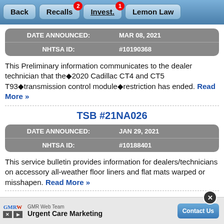[Figure (screenshot): Navigation bar with Back, Recalls (badge 2), Invest. (badge 1), Lemon Law buttons]
| DATE ANNOUNCED: | MAR 08, 2021 |
| NHTSA ID: | #10190368 |
This Preliminary information communicates to the dealer technician that the 2020 Cadillac CT4 and CT5 T93 transmission control module restriction has ended. Read More »
TSB #21NA026
| DATE ANNOUNCED: | JAN 29, 2021 |
| NHTSA ID: | #10188401 |
This service bulletin provides information for dealers/technicians on accessory all-weather floor liners and flat mats warped or misshapen. Read More »
[Figure (screenshot): Advertisement banner: GMR Web Team Urgent Care Marketing with Contact Us button]